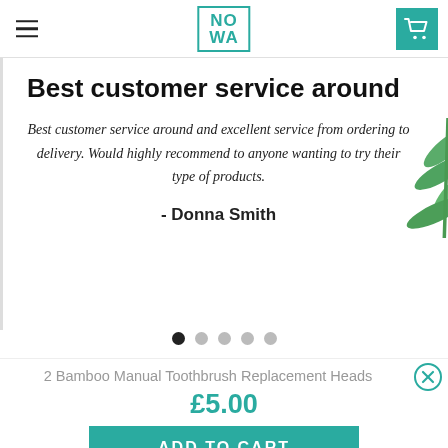[Figure (logo): NOWA logo in teal border, hamburger menu on left, shopping cart icon on right]
Best customer service around
Best customer service around and excellent service from ordering to delivery. Would highly recommend to anyone wanting to try their type of products.
- Donna Smith
2 Bamboo Manual Toothbrush Replacement Heads
£5.00
ADD TO CART